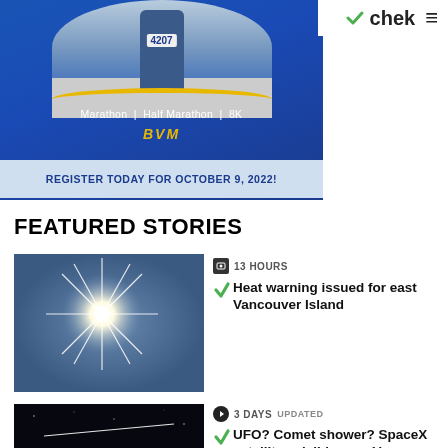[Figure (photo): CHEK news website screenshot with marathon ad banner showing runner bib 4207, Marathon | Half Marathon | 8K options, BVM logo, and REGISTER TODAY FOR OCTOBER 9, 2022!]
chek ≡
FEATURED STORIES
[Figure (photo): Bright star/sun burst in a blue sky]
13 HOURS
Heat warning issued for east Vancouver Island
[Figure (photo): Dark night sky with a streak of light (possible satellite or meteor)]
3 DAYS  UPDATED
UFO? Comet shower? SpaceX satellites visible over Vancouver Island Friday night